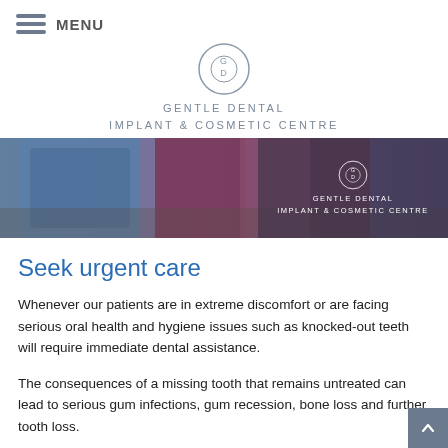MENU
[Figure (logo): Gentle Dental Implant & Cosmetic Centre circular logo with GD monogram]
GENTLE DENTAL
IMPLANT & COSMETIC CENTRE
[Figure (photo): Banner photo of dental staff in scrubs with Gentle Dental Implant & Cosmetic Centre logo overlay]
Seek urgent care
Whenever our patients are in extreme discomfort or are facing serious oral health and hygiene issues such as knocked-out teeth will require immediate dental assistance.
The consequences of a missing tooth that remains untreated can lead to serious gum infections, gum recession, bone loss and further tooth loss.